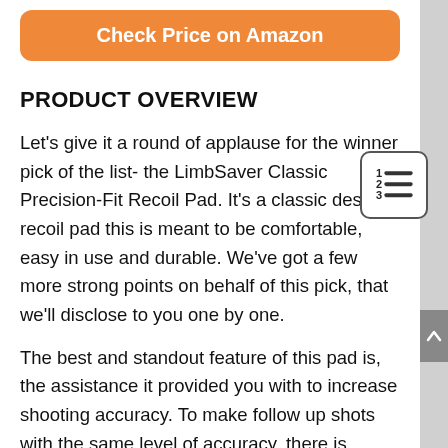[Figure (other): Orange rounded button labeled 'Check Price on Amazon']
PRODUCT OVERVIEW
Let's give it a round of applause for the winner pick of the list- the LimbSaver Classic Precision-Fit Recoil Pad. It's a classic design recoil pad this is meant to be comfortable, easy in use and durable. We've got a few more strong points on behalf of this pick, that we'll disclose to you one by one.
The best and standout feature of this pad is, the assistance it provided you with to increase shooting accuracy. To make follow up shots with the same level of accuracy, there is hardly any competitor of this one. With accuracy, you'll enjoy a blend of better stability and control.